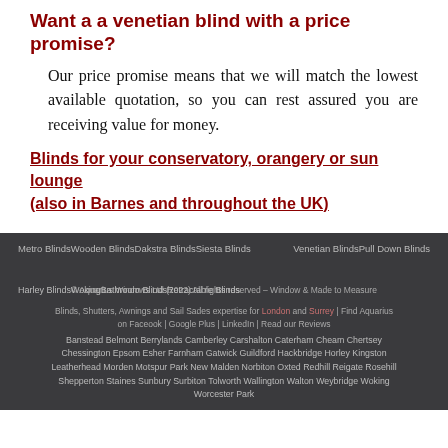Want a a venetian blind with a price promise?
Our price promise means that we will match the lowest available quotation, so you can rest assured you are receiving value for money.
Blinds for your conservatory, orangery or sun lounge (also in Barnes and throughout the UK)
Metro BlindsWooden BlindsDakstra BlindsSiesta Blinds Venetian BlindsPull Down Blinds Harley BlindsWokingBathroom BlindsRetractable Blinds © Aquarius Windows Ltd (2022) All rights reserved – Window & Made to Measure Blinds, Shutters, Awnings and Sail Sades expertise for London and Surrey | Find Aquarius on Faceook | Google Plus | LinkedIn | Read our Reviews Banstead Belmont Berrylands Camberley Carshalton Caterham Cheam Chertsey Chessington Epsom Esher Farnham Gatwick Guildford Hackbridge Horley Kingston Leatherhead Morden Motspur Park New Malden Norbiton Oxted Redhill Reigate Rosehill Shepperton Staines Sunbury Surbiton Tolworth Wallington Walton Weybridge Woking Worcester Park